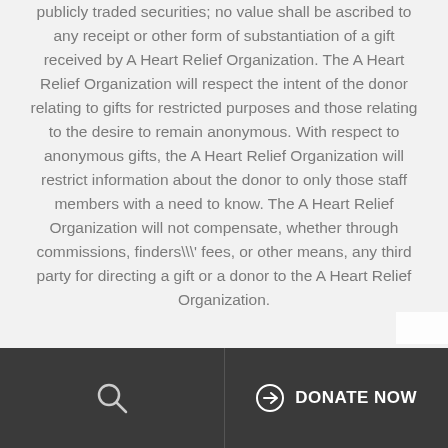publicly traded securities; no value shall be ascribed to any receipt or other form of substantiation of a gift received by A Heart Relief Organization. The A Heart Relief Organization will respect the intent of the donor relating to gifts for restricted purposes and those relating to the desire to remain anonymous. With respect to anonymous gifts, the A Heart Relief Organization will restrict information about the donor to only those staff members with a need to know. The A Heart Relief Organization will not compensate, whether through commissions, finders\\' fees, or other means, any third party for directing a gift or a donor to the A Heart Relief Organization.
DONATE NOW